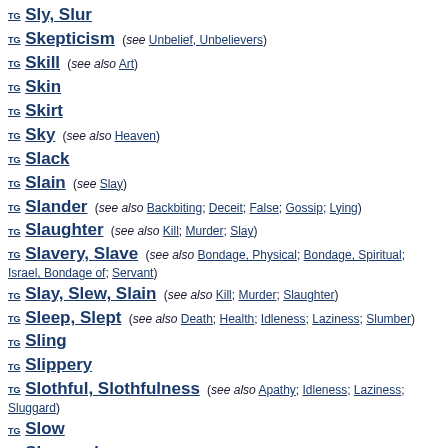TG Sly, Slur
TG Skepticism (see Unbelief, Unbelievers)
TG Skill (see also Art)
TG Skin
TG Skirt
TG Sky (see also Heaven)
TG Slack
TG Slain (see Slay)
TG Slander (see also Backbiting; Deceit; False; Gossip; Lying)
TG Slaughter (see also Kill; Murder; Slay)
TG Slavery, Slave (see also Bondage, Physical; Bondage, Spiritual; Israel, Bondage of; Servant)
TG Slay, Slew, Slain (see also Kill; Murder; Slaughter)
TG Sleep, Slept (see also Death; Health; Idleness; Laziness; Slumber)
TG Sling
TG Slippery
TG Slothful, Slothfulness (see also Apathy; Idleness; Laziness; Sluggard)
TG Slow
TG Sluggard